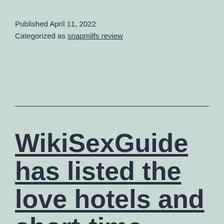Published April 11, 2022
Categorized as snapmilfs review
WikiSexGuide has listed the love hotels and short-time hotels in each city if there are any